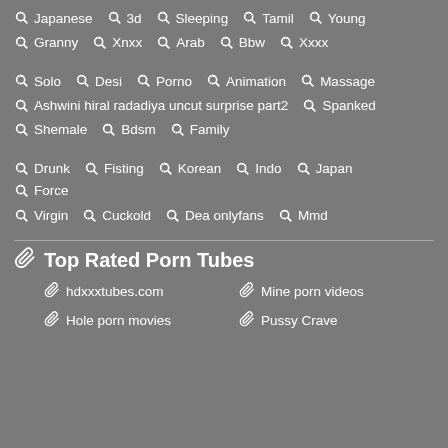Japanese  3d  Sleeping  Tamil  Young
Granny  Xnxx  Arab  Bbw  Xxxx
Solo  Desi  Porno  Animation  Massage
Ashwini hiral radadiya uncut surprise part2  Spanked
Shemale  Bdsm  Family
Drunk  Fisting  Korean  Indo  Japan  Force
Virgin  Cuckold  Dea onlyfans  Mmd
Top Rated Porn Tubes
hdxxxtubes.com
Mine porn videos
Hole porn movies
Pussy Crave